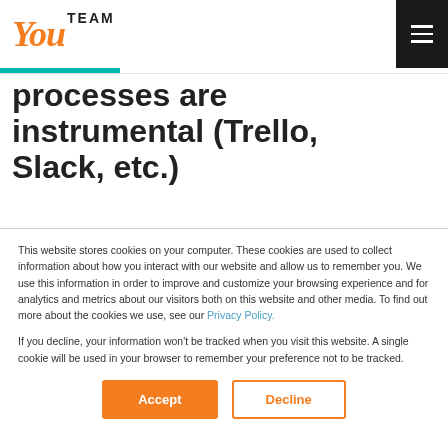[Figure (logo): YouTeam logo with 'You' in orange italic script and 'TEAM' in bold dark sans-serif]
processes are instrumental (Trello, Slack, etc.)
This website stores cookies on your computer. These cookies are used to collect information about how you interact with our website and allow us to remember you. We use this information in order to improve and customize your browsing experience and for analytics and metrics about our visitors both on this website and other media. To find out more about the cookies we use, see our Privacy Policy.
If you decline, your information won't be tracked when you visit this website. A single cookie will be used in your browser to remember your preference not to be tracked.